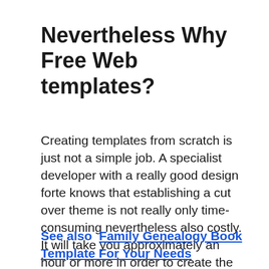Nevertheless Why Free Web templates?
Creating templates from scratch is just not a simple job. A specialist developer with a really good design forte knows that establishing a cut over theme is not really only time-consuming nevertheless also costly. It will take you approximately an hour or more in order to create the best theme for your enterprise, and it is even more pricey if you seek the services of another designer to be able to do the work for you.
See also  Family Genealogy Book Template For Your Needs